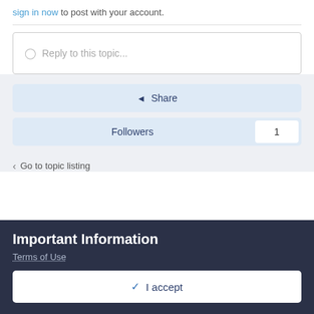sign in now to post with your account.
Reply to this topic...
Share
Followers  1
Go to topic listing
Important Information
Terms of Use
I accept